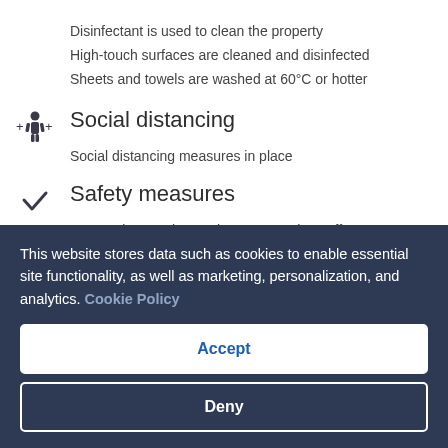Disinfectant is used to clean the property
High-touch surfaces are cleaned and disinfected
Sheets and towels are washed at 60°C or hotter
Social distancing
Social distancing measures in place
Safety measures
Personal protective equipment worn by staff
This website stores data such as cookies to enable essential site functionality, as well as marketing, personalization, and analytics. Cookie Policy
Accept
Deny